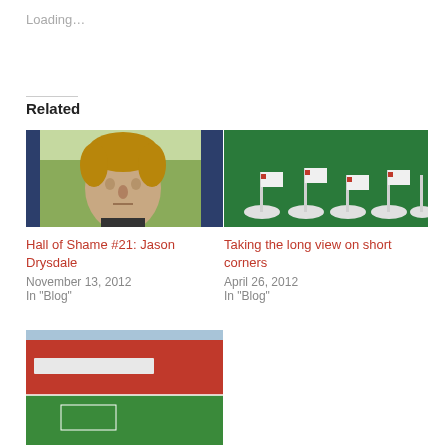Loading...
Related
[Figure (photo): Headshot of young male footballer Jason Drysdale with curly hair, wearing dark jersey, outdoors on grass pitch]
Hall of Shame #21: Jason Drysdale
November 13, 2012
In "Blog"
[Figure (photo): Small white corner flags on green tabletop football pitch surface]
Taking the long view on short corners
April 26, 2012
In "Blog"
[Figure (photo): Doncaster Rovers stadium with red stand and pitch visible]
Doncaster Rovers 1 Swindon 0: Town's